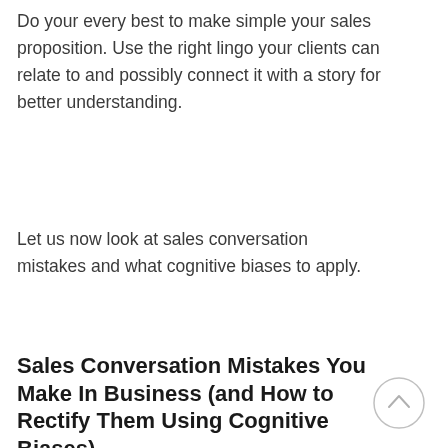Do your every best to make simple your sales proposition. Use the right lingo your clients can relate to and possibly connect it with a story for better understanding.
Let us now look at sales conversation mistakes and what cognitive biases to apply.
Sales Conversation Mistakes You Make In Business (and How to Rectify Them Using Cognitive Biases)